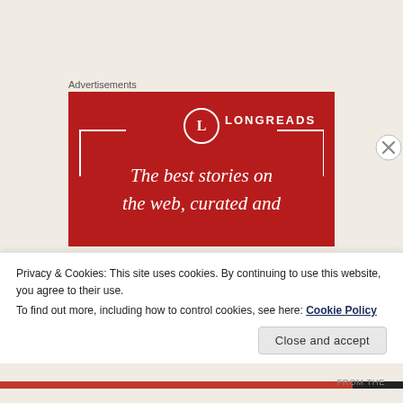Advertisements
[Figure (illustration): Longreads advertisement banner with red background. Shows the Longreads logo (circle with L) and the text 'The best stories on the web, curated and...' in italic serif font.]
tagged advaita, body/mind, ego, mind, mooji, personality, self, truth    2
Privacy & Cookies: This site uses cookies. By continuing to use this website, you agree to their use.
To find out more, including how to control cookies, see here: Cookie Policy
Close and accept